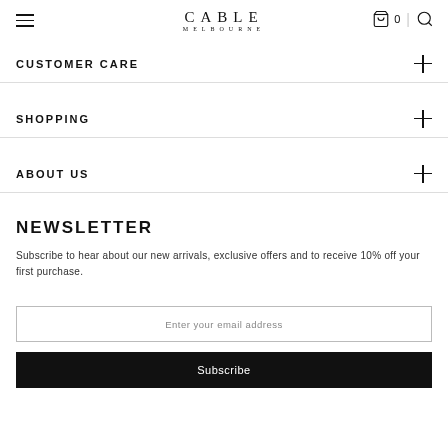CABLE MELBOURNE
CUSTOMER CARE
SHOPPING
ABOUT US
NEWSLETTER
Subscribe to hear about our new arrivals, exclusive offers and to receive 10% off your first purchase.
Enter your email address
Subscribe